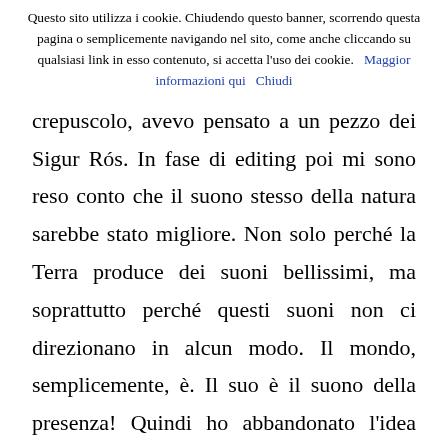Questo sito utilizza i cookie. Chiudendo questo banner, scorrendo questa pagina o semplicemente navigando nel sito, come anche cliccando su qualsiasi link in esso contenuto, si accetta l'uso dei cookie.   Maggior informazioni qui   Chiudi
crepuscolo, avevo pensato a un pezzo dei Sigur Rós. In fase di editing poi mi sono reso conto che il suono stesso della natura sarebbe stato migliore. Non solo perché la Terra produce dei suoni bellissimi, ma soprattutto perché questi suoni non ci direzionano in alcun modo. Il mondo, semplicemente, è. Il suo è il suono della presenza! Quindi ho abbandonato l'idea della musica extra-diegetica, anche in Post Tenebras Lux. Sono arrivato al punto di considerare la colonna sonora, tecnicamente, come estranea al dominio del